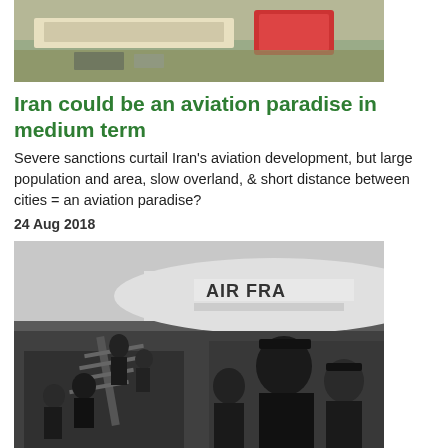[Figure (photo): Photo of items on a table, possibly airplane parts or boxes, top of article]
Iran could be an aviation paradise in medium term
Severe sanctions curtail Iran's aviation development, but large population and area, slow overland, & short distance between cities = an aviation paradise?
24 Aug 2018
[Figure (photo): Black and white historical photo of people descending airplane stairs next to Air France aircraft, with military/security personnel]
The numbers behind BA, Air France and KLM's Iran pull-out
It was announced on 23 August that British Airways would join Air France and KLM in stopping its services to Tehran. Here, Khomeini...